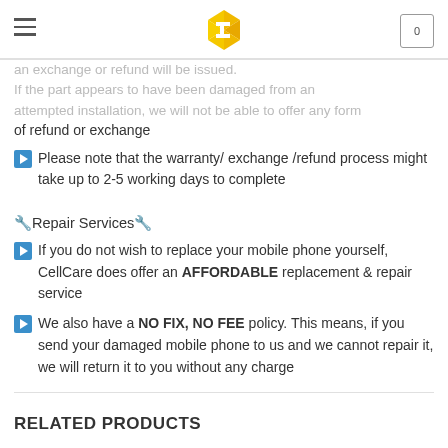CellCare logo, hamburger menu, cart icon
an exchange or refund will be issued. If the part appears to have been damaged from an attempted installation, we will not be able to offer any form of refund or exchange
Please note that the warranty/ exchange /refund process might take up to 2-5 working days to complete
🔧Repair Services🔧
If you do not wish to replace your mobile phone yourself, CellCare does offer an AFFORDABLE replacement & repair service
We also have a NO FIX, NO FEE policy. This means, if you send your damaged mobile phone to us and we cannot repair it, we will return it to you without any charge
RELATED PRODUCTS